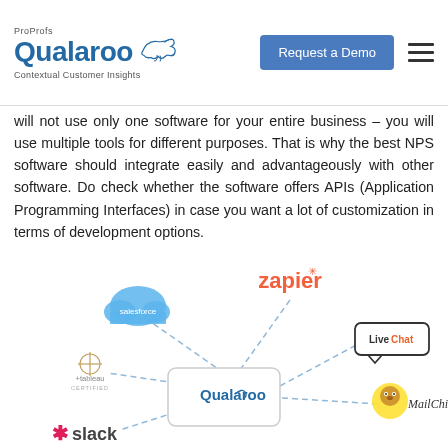ProProfs Qualaroo - Contextual Customer Insights | Request a Demo
will not use only one software for your entire business – you will use multiple tools for different purposes. That is why the best NPS software should integrate easily and advantageously with other software. Do check whether the software offers APIs (Application Programming Interfaces) in case you want a lot of customization in terms of development options.
[Figure (infographic): Integration diagram showing Qualaroo in the center connected via dashed lines to various software tools: Salesforce (cloud icon, blue), Zapier (orange text with asterisk), LiveChat (speech bubble logo), Tableau Certified (crosshair icon), Slack (colored asterisk icon), and MailChimp (monkey icon).]